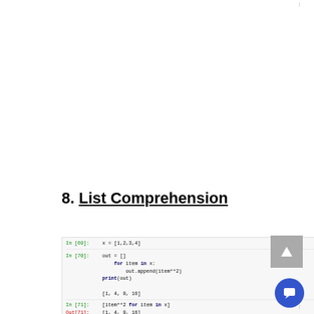8. List Comprehension
In [69]: x = [1,2,3,4]
In [70]: out = []
    for item in x:
        out.append(item**2)
    print(out)
    [1, 4, 9, 16]
In [71]: [item**2 for item in x]
Out[71]: [1, 4, 9, 16]